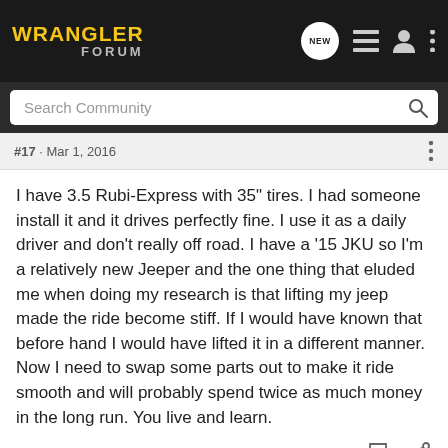WRANGLER FORUM
#17 · Mar 1, 2016
I have 3.5 Rubi-Express with 35" tires. I had someone install it and it drives perfectly fine. I use it as a daily driver and don't really off road. I have a '15 JKU so I'm a relatively new Jeeper and the one thing that eluded me when doing my research is that lifting my jeep made the ride become stiff. If I would have known that before hand I would have lifted it in a different manner. Now I need to swap some parts out to make it ride smooth and will probably spend twice as much money in the long run. You live and learn.
[Figure (screenshot): Nitto All-New Nomad Grappler Crossover-Terrain Tire advertisement banner]